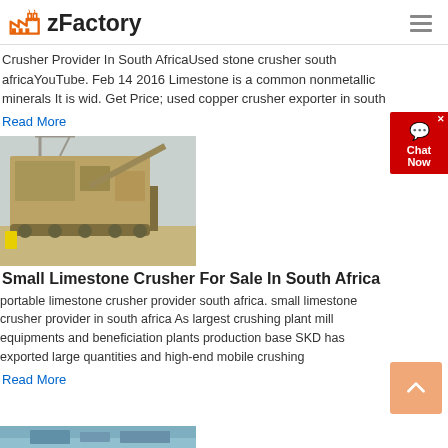zFactory
Crusher Provider In South AfricaUsed stone crusher south africaYouTube. Feb 14 2016 Limestone is a common nonmetallic minerals It is wid. Get Price; used copper crusher exporter in south
Read More
[Figure (photo): Large industrial limestone/stone crusher machine photographed outdoors in a dry, dusty environment]
Small Limestone Crusher For Sale In South Africa
portable limestone crusher provider south africa. small limestone crusher provider in south africa As largest crushing plant mill equipments and beneficiation plants production base SKD has exported large quantities and high-end mobile crushing
Read More
[Figure (photo): Partial view of another industrial crushing machine, visible at the bottom of the page]